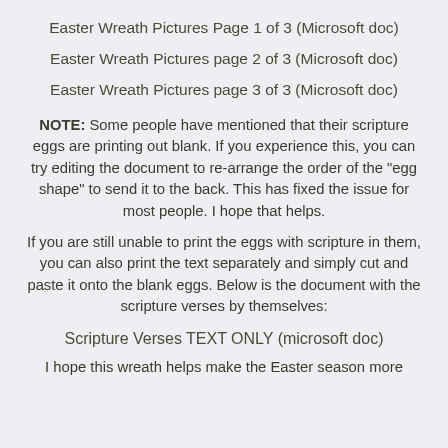Easter Wreath Pictures Page 1 of 3 (Microsoft doc)
Easter Wreath Pictures page 2 of 3 (Microsoft doc)
Easter Wreath Pictures page 3 of 3 (Microsoft doc)
NOTE: Some people have mentioned that their scripture eggs are printing out blank.  If you experience this, you can try editing the document to re-arrange the order of the "egg shape" to send it to the back.  This has fixed the issue for most people.  I hope that helps.
If you are still unable to print the eggs with scripture in them, you can also print the text separately and simply cut and paste it onto the blank eggs.  Below is the document with the scripture verses by themselves:
Scripture Verses TEXT ONLY (microsoft doc)
I hope this wreath helps make the Easter season more